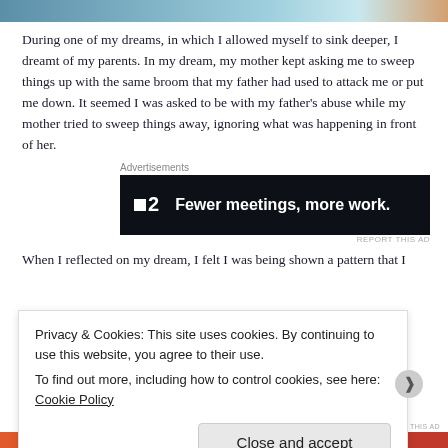[Figure (photo): Top portion of an image, appears to be a water or nature scene with blue/teal tones]
During one of my dreams, in which I allowed myself to sink deeper, I dreamt of my parents. In my dream, my mother kept asking me to sweep things up with the same broom that my father had used to attack me or put me down. It seemed I was asked to be with my father's abuse while my mother tried to sweep things away, ignoring what was happening in front of her.
Advertisements
[Figure (screenshot): Advertisement banner for a product called F2 with text 'Fewer meetings, more work.' on dark background]
When I reflected on my dream, I felt I was being shown a pattern that I
Privacy & Cookies: This site uses cookies. By continuing to use this website, you agree to their use.
To find out more, including how to control cookies, see here: Cookie Policy